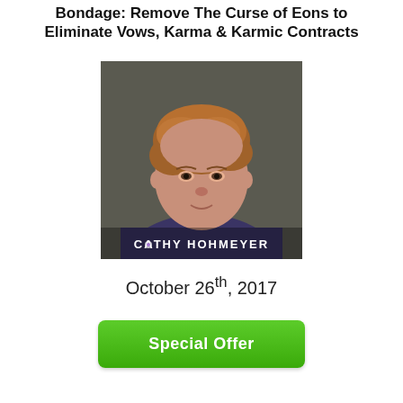Bondage: Remove The Curse of Eons to Eliminate Vows, Karma & Karmic Contracts
[Figure (photo): Headshot photo of Cathy Hohmeyer, a woman with short auburn hair wearing a dark purple/navy top, with her name 'CATHY HOHMEYER' overlaid in white text at the bottom of the image.]
October 26th, 2017
Special Offer